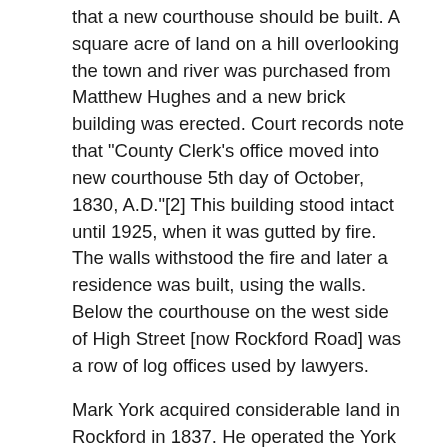that a new courthouse should be built. A square acre of land on a hill overlooking the town and river was purchased from Matthew Hughes and a new brick building was erected. Court records note that "County Clerk's office moved into new courthouse 5th day of October, 1830, A.D."[2] This building stood intact until 1925, when it was gutted by fire. The walls withstood the fire and later a residence was built, using the walls. Below the courthouse on the west side of High Street [now Rockford Road] was a row of log offices used by lawyers.
Mark York acquired considerable land in Rockford in 1837. He operated the York Tavern which shared with the Burrus Tavern the distinction of entertaining many notables of that era. The tavern still stands.
Rockford, a political center for the area, was largely Whig. In 1840 a prize was offered to the county that